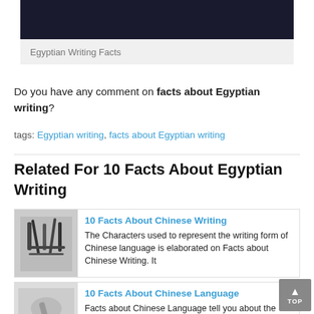[Figure (photo): Dark photograph of Egyptian writing scene at the top of the page]
Egyptian Writing Facts
Do you have any comment on facts about Egyptian writing?
tags: Egyptian writing, facts about Egyptian writing
Related For 10 Facts About Egyptian Writing
[Figure (photo): Photo of Chinese calligraphy brushwork with Chinese characters]
10 Facts About Chinese Writing
The Characters used to represent the writing form of Chinese language is elaborated on Facts about Chinese Writing. It
[Figure (photo): Photo of someone writing Chinese characters]
10 Facts About Chinese Language
Facts about Chinese Language tell you about the first language spoken by the Chinese people.